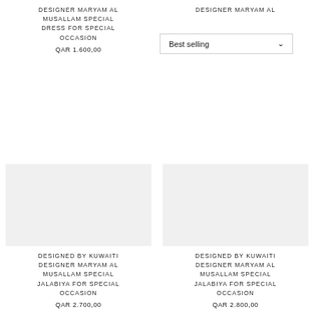DESIGNER MARYAM AL MUSALLAM SPECIAL DRESS FOR SPECIAL OCCASION
QAR 1.600,00
[Figure (screenshot): Best selling dropdown filter widget with chevron]
DESIGNER MARYAM AL [MUSALLAM SPECIAL DRESS FOR SPECIAL] OCCASION
QAR 1.900,00
DESIGNED BY KUWAITI DESIGNER MARYAM AL MUSALLAM SPECIAL JALABIYA FOR SPECIAL OCCASION
QAR 2.700,00
DESIGNED BY KUWAITI DESIGNER MARYAM AL MUSALLAM SPECIAL JALABIYA FOR SPECIAL OCCASION
QAR 2.800,00